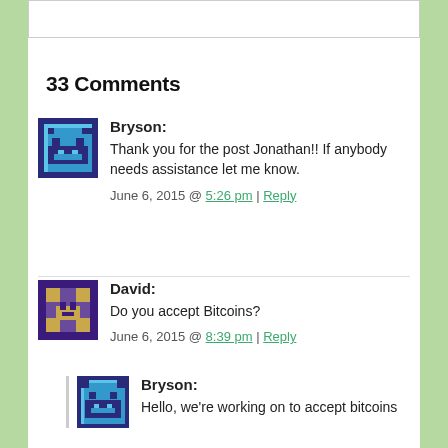33 Comments
Bryson:
Thank you for the post Jonathan!! If anybody needs assistance let me know.
June 6, 2015 @ 5:26 pm | Reply
David:
Do you accept Bitcoins?
June 6, 2015 @ 8:39 pm | Reply
Bryson:
Hello, we're working on to accept bitcoins